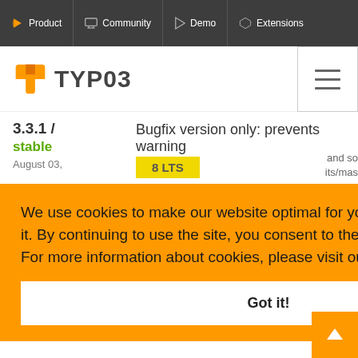Product | Community | Demo | Extensions
[Figure (logo): TYPO3 logo with orange arrow icon and TYPO3 text]
3.3.1 / stable
August 03,
Bugfix version only: prevents warning
8 LTS
We use cookies to make our website optimal for you and to continuously improve it. By continuing to use the site, you consent to the use of cookies.
For more information about cookies, please visit our privacy policy
Got it!